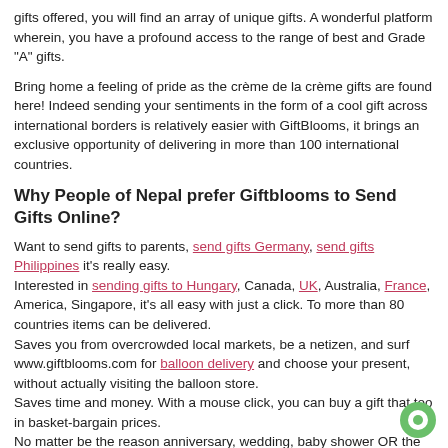gifts offered, you will find an array of unique gifts. A wonderful platform wherein, you have a profound access to the range of best and Grade "A" gifts.
Bring home a feeling of pride as the crème de la crème gifts are found here! Indeed sending your sentiments in the form of a cool gift across international borders is relatively easier with GiftBlooms, it brings an exclusive opportunity of delivering in more than 100 international countries.
Why People of Nepal prefer Giftblooms to Send Gifts Online?
Want to send gifts to parents, send gifts Germany, send gifts Philippines it's really easy.
Interested in sending gifts to Hungary, Canada, UK, Australia, France, America, Singapore, it's all easy with just a click. To more than 80 countries items can be delivered.
Saves you from overcrowded local markets, be a netizen, and surf www.giftblooms.com for balloon delivery and choose your present, without actually visiting the balloon store.
Saves time and money. With a mouse click, you can buy a gift that too in basket-bargain prices.
No matter be the reason anniversary, wedding, baby shower OR the season, Christmas, Valentine, at Gift blooms you will find it all.
An assorted range of high-value cheap gifts.
A quick delivery stands applicable to a wide variety of graded products.